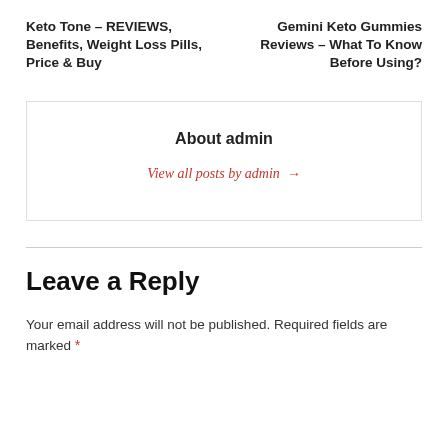Keto Tone – REVIEWS, Benefits, Weight Loss Pills, Price & Buy
Gemini Keto Gummies Reviews – What To Know Before Using?
About admin
View all posts by admin →
Leave a Reply
Your email address will not be published. Required fields are marked *